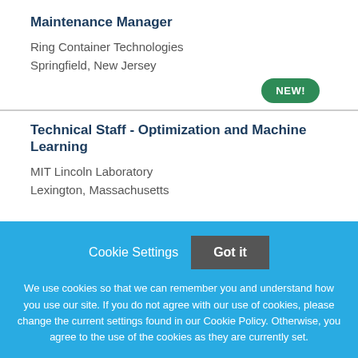Maintenance Manager
Ring Container Technologies
Springfield, New Jersey
[Figure (other): Green rounded badge with white text reading NEW!]
Technical Staff - Optimization and Machine Learning
MIT Lincoln Laboratory
Lexington, Massachusetts
Cookie Settings  Got it
We use cookies so that we can remember you and understand how you use our site. If you do not agree with our use of cookies, please change the current settings found in our Cookie Policy. Otherwise, you agree to the use of the cookies as they are currently set.